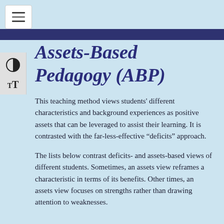Assets-Based Pedagogy (ABP)
This teaching method views students' different characteristics and background experiences as positive assets that can be leveraged to assist their learning. It is contrasted with the far-less-effective “deficits” approach.
The lists below contrast deficits- and assets-based views of different students. Sometimes, an assets view reframes a characteristic in terms of its benefits. Other times, an assets view focuses on strengths rather than drawing attention to weaknesses.